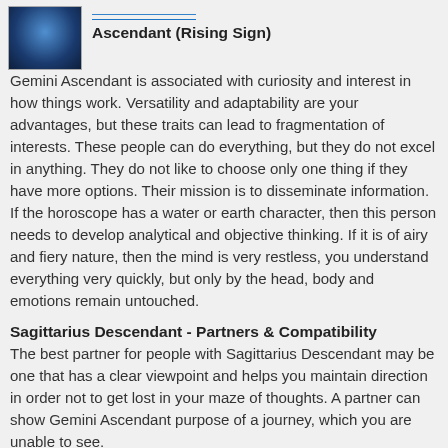[Figure (photo): Small square photo with blue cosmic/astronomical imagery, possibly a zodiac or space-themed illustration]
Ascendant (Rising Sign)
Gemini Ascendant is associated with curiosity and interest in how things work. Versatility and adaptability are your advantages, but these traits can lead to fragmentation of interests. These people can do everything, but they do not excel in anything. They do not like to choose only one thing if they have more options. Their mission is to disseminate information. If the horoscope has a water or earth character, then this person needs to develop analytical and objective thinking. If it is of airy and fiery nature, then the mind is very restless, you understand everything very quickly, but only by the head, body and emotions remain untouched.
Sagittarius Descendant - Partners & Compatibility
The best partner for people with Sagittarius Descendant may be one that has a clear viewpoint and helps you maintain direction in order not to get lost in your maze of thoughts. A partner can show Gemini Ascendant purpose of a journey, which you are unable to see.
If you have Gemini Ascendant, you may feel that your partner lectures you, that he knows everything the best and that he thinks he is better than you. Your mission is not to be afraid to show your real desire for knowledge, to set some goals and have warm-hearted